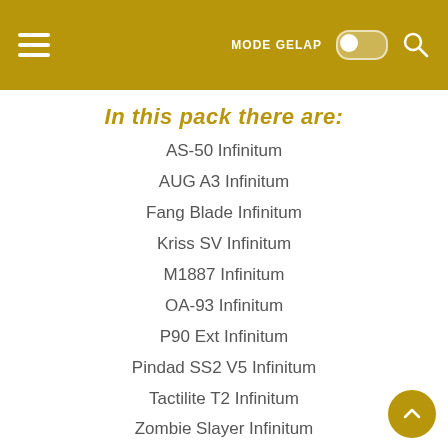MODE GELAP
In this pack there are:
AS-50 Infinitum
AUG A3 Infinitum
Fang Blade Infinitum
Kriss SV Infinitum
M1887 Infinitum
OA-93 Infinitum
P90 Ext Infinitum
Pindad SS2 V5 Infinitum
Tactilite T2 Infinitum
Zombie Slayer Infinitum
Karambit Infinitum (texture)
Mask Infinitum (texture)
CREDITS:
AUG A3 Infinitum
Zeppeto >> [Original Models]